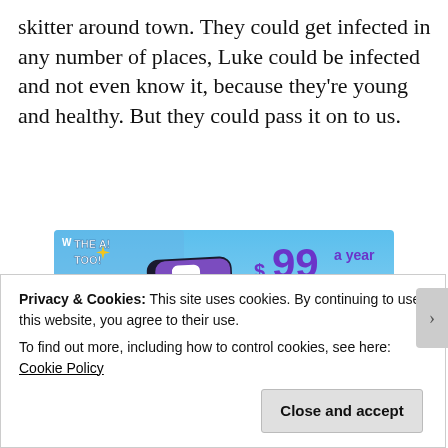skitter around town. They could get infected in any number of places, Luke could be infected and not even know it, because they're young and healthy. But they could pass it on to us.
[Figure (screenshot): Tumblr subscription advertisement showing the Tumblr logo with sparkles on a blue background, advertising a yearly or monthly subscription price with free shipping.]
Privacy & Cookies: This site uses cookies. By continuing to use this website, you agree to their use.
To find out more, including how to control cookies, see here: Cookie Policy
Close and accept